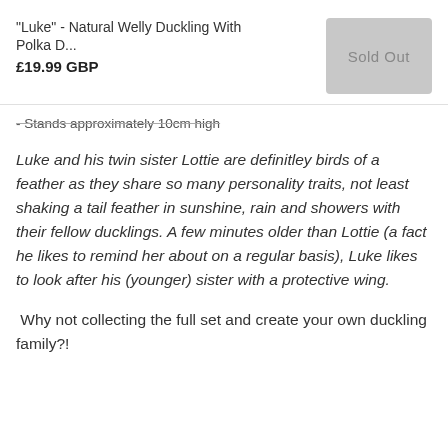"Luke" - Natural Welly Duckling With Polka D...
£19.99 GBP
- Stands approximately 10cm high
Luke and his twin sister Lottie are definitley birds of a feather as they share so many personality traits, not least shaking a tail feather in sunshine, rain and showers with their fellow ducklings. A few minutes older than Lottie (a fact he likes to remind her about on a regular basis), Luke likes to look after his (younger) sister with a protective wing.
Why not collecting the full set and create your own duckling family?!